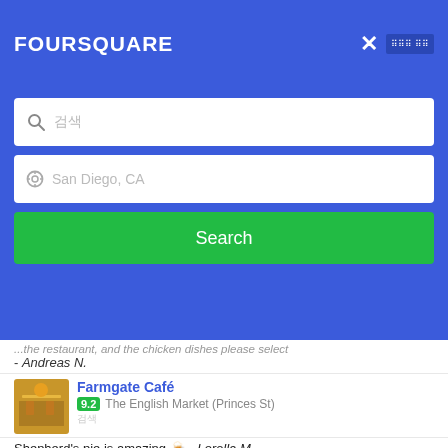FOURSQUARE
Search (search box with location: San Diego, CA)
- Andreas N.
Farmgate Café | 9.2 | The English Market (Princes St) | Shepherd's pie is amazing 🍺 - Lorella M.
Market Lane | 9.1 | Oliver Plunkett St | By far the best restaurant in Cork. And the prices are surprisingly reasonable as well (cheaper than many restaurants that serve clearly inferior food). - Andreas N.